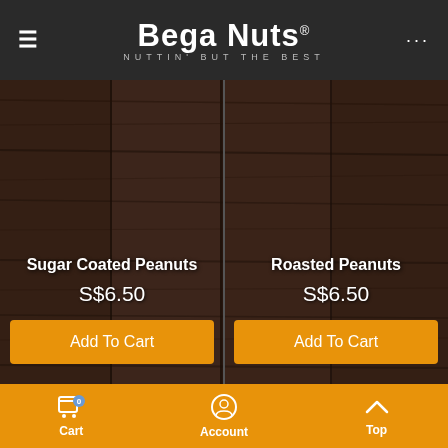Bega Nuts® — NUTTIN' BUT THE BEST
[Figure (screenshot): Two product cards on a dark wood-grain background. Left card: Sugar Coated Peanuts S$6.50 with Add To Cart button. Right card: Roasted Peanuts S$6.50 with Add To Cart button.]
Cart 0 | Account | Top